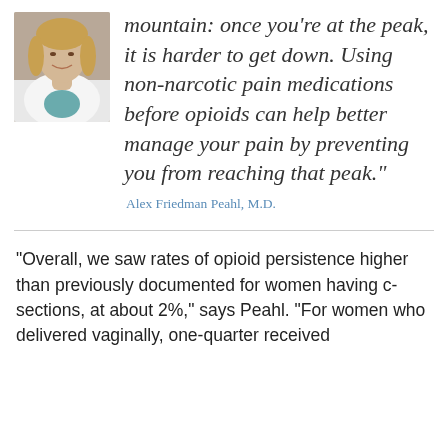[Figure (photo): Headshot photo of a woman in a white coat, smiling, with blonde hair]
mountain: once you're at the peak, it is harder to get down. Using non-narcotic pain medications before opioids can help better manage your pain by preventing you from reaching that peak."
Alex Friedman Peahl, M.D.
“Overall, we saw rates of opioid persistence higher than previously documented for women having c-sections, at about 2%,” says Peahl. “For women who delivered vaginally, one-quarter received